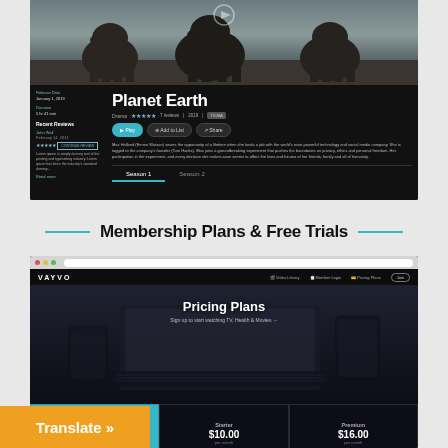[Figure (screenshot): Planet Earth streaming service page screenshot showing elephants hero image, title 'Planet Earth', genre/rating/year metadata, Play/Add to List/Share buttons, description text, Season 1 and Season 2 tabs, and Recent Reviews panel]
Membership Plans & Free Trials
[Figure (screenshot): Vayvo streaming website Pricing Plans page screenshot showing browser chrome, navigation bar with VAYVO logo, hero section with 'Pricing Plans' title and device mockups, and pricing cards for Free Trial ($0.00), Starter ($10.00), and Premium ($16.00)]
[Figure (other): Orange 'Translate »' button overlay in bottom-left corner]